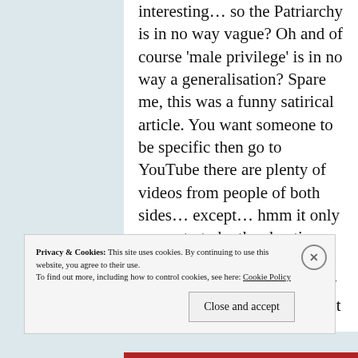interesting… so the Patriarchy is in no way vague? Oh and of course 'male privilege' is in no way a generalisation? Spare me, this was a funny satirical article. You want someone to be specific then go to YouTube there are plenty of videos from people of both sides… except… hmm it only seems to to be the skeptics responding to actual videos? The feminists etc… well they just Lecture to a camera about pithy problems. Nothing
Privacy & Cookies: This site uses cookies. By continuing to use this website, you agree to their use. To find out more, including how to control cookies, see here: Cookie Policy
Close and accept